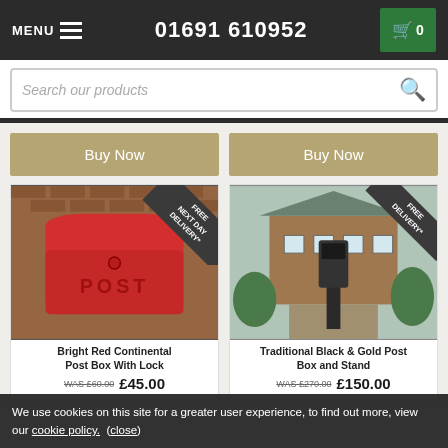MENU  01691 610952  0
Search our products
[Figure (other): Two Buy Now buttons (tan/khaki color) side by side]
[Figure (photo): Bright red wall-mounted post box labeled POST on a red brick wall with FREE NEXT DAY DELIVERY ribbon]
[Figure (photo): Black and gold post box on a stand in front of a brick house with manicured hedges, FREE DELIVERY ribbon]
Bright Red Continental Post Box With Lock
WAS £60.00  £45.00
Traditional Black & Gold Post Box and Stand
WAS £270.00  £150.00
We use cookies on this site for a greater user experience, to find out more, view our cookie policy. (close)